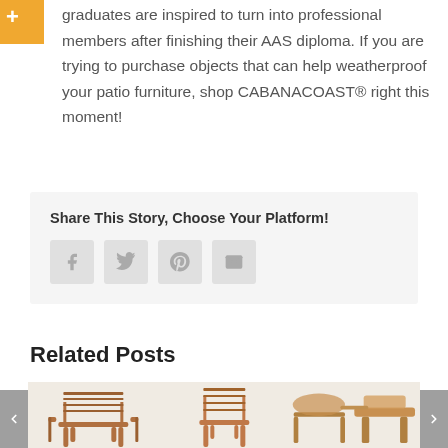graduates are inspired to turn into professional members after finishing their AAS diploma. If you are trying to purchase objects that can help weatherproof your patio furniture, shop CABANACOAST® right this moment!
Share This Story, Choose Your Platform!
[Figure (infographic): Social sharing icons: Facebook, Twitter, Pinterest, Email]
Related Posts
[Figure (photo): Row of related post thumbnail images showing patio furniture chairs, with left and right navigation arrows]